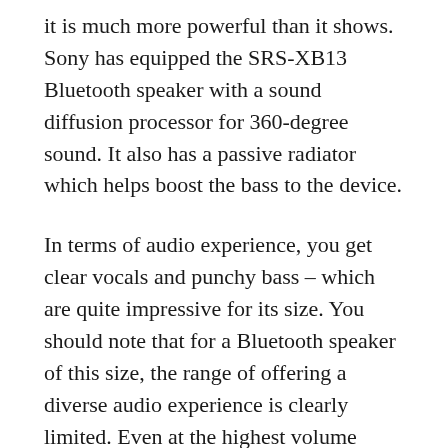it is much more powerful than it shows. Sony has equipped the SRS-XB13 Bluetooth speaker with a sound diffusion processor for 360-degree sound. It also has a passive radiator which helps boost the bass to the device.
In terms of audio experience, you get clear vocals and punchy bass – which are quite impressive for its size. You should note that for a Bluetooth speaker of this size, the range of offering a diverse audio experience is clearly limited. Even at the highest volume level, there was no distortion in the audio, which is another good thing about this device.
The Sony SRS-XB13 has a speaker size of